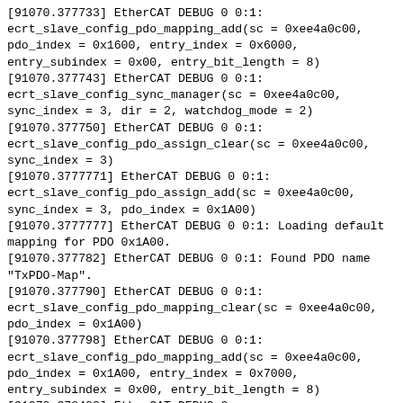[91070.377733] EtherCAT DEBUG 0 0:1:
ecrt_slave_config_pdo_mapping_add(sc = 0xee4a0c00,
pdo_index = 0x1600, entry_index = 0x6000,
entry_subindex = 0x00, entry_bit_length = 8)
[91070.377743] EtherCAT DEBUG 0 0:1:
ecrt_slave_config_sync_manager(sc = 0xee4a0c00,
sync_index = 3, dir = 2, watchdog_mode = 2)
[91070.377750] EtherCAT DEBUG 0 0:1:
ecrt_slave_config_pdo_assign_clear(sc = 0xee4a0c00,
sync_index = 3)
[91070.3777771] EtherCAT DEBUG 0 0:1:
ecrt_slave_config_pdo_assign_add(sc = 0xee4a0c00,
sync_index = 3, pdo_index = 0x1A00)
[91070.3777777] EtherCAT DEBUG 0 0:1: Loading default
mapping for PDO 0x1A00.
[91070.377782] EtherCAT DEBUG 0 0:1: Found PDO name
"TxPDO-Map".
[91070.377790] EtherCAT DEBUG 0 0:1:
ecrt_slave_config_pdo_mapping_clear(sc = 0xee4a0c00,
pdo_index = 0x1A00)
[91070.377798] EtherCAT DEBUG 0 0:1:
ecrt_slave_config_pdo_mapping_add(sc = 0xee4a0c00,
pdo_index = 0x1A00, entry_index = 0x7000,
entry_subindex = 0x00, entry_bit_length = 8)
[91070.378422] EtherCAT DEBUG 0:
ecrt_master_slave_config(master = 0xee488000, alias =
0, position = 1, vendor_id = 0x00000002, product_code =
0x1a243052)
[91070.378524] EtherCAT DEBUG 0 0:1:
ecrt_slave_config_reg_pdo_entry(sc = 0xee4a0c00, index